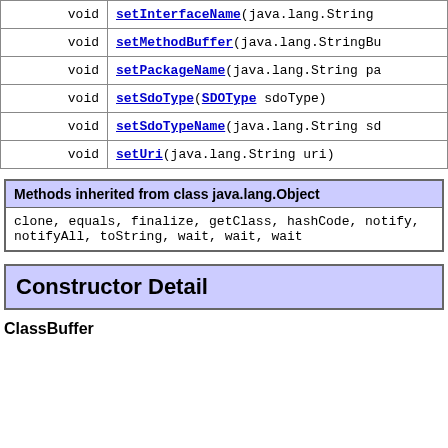| return | method |
| --- | --- |
| void | setInterfaceName(java.lang.String... |
| void | setMethodBuffer(java.lang.StringBu... |
| void | setPackageName(java.lang.String pa... |
| void | setSdoType(SDOType sdoType) |
| void | setSdoTypeName(java.lang.String sd... |
| void | setUri(java.lang.String uri) |
Methods inherited from class java.lang.Object
clone, equals, finalize, getClass, hashCode, notify, notifyAll, toString, wait, wait, wait
Constructor Detail
ClassBuffer